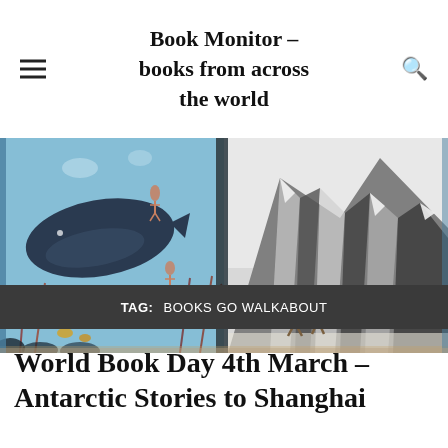Book Monitor – books from across the world
[Figure (illustration): Open book spread showing illustrated pages: left page depicts an underwater scene with a large dark whale and swimmers among coral and seaweed in blue tones; right page shows two hikers looking up at dramatic striped mountain peaks in grey and white tones, photographed on a wooden surface.]
TAG: BOOKS GO WALKABOUT
World Book Day 4th March – Antarctic Stories to Shanghai